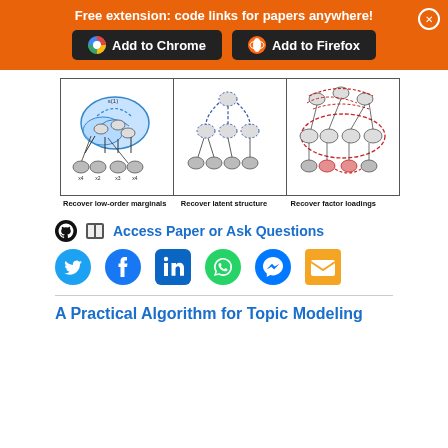Free extension: code links for papers anywhere!
[Figure (network-graph): Three-panel figure showing graph structures: left panel (Recover low-order marginals) with blue shaded nodes, middle panel (Recover latent structure) with blue dashed arcs, right panel (Recover factor loadings) with red dashed arcs and multiple nodes.]
Recover low-order marginals    Recover latent structure    Recover factor loadings
Access Paper or Ask Questions
[Figure (infographic): Social media sharing icons: Twitter, Facebook, LinkedIn, WhatsApp, Messenger, Email]
A Practical Algorithm for Topic Modeling